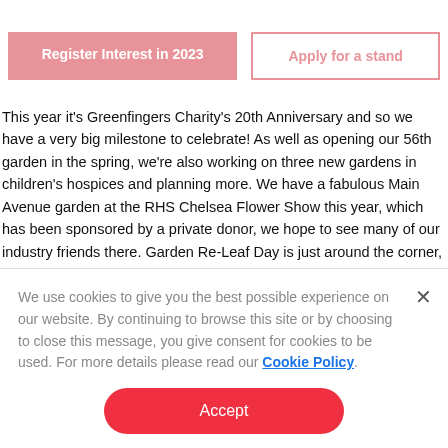[Figure (screenshot): Two buttons side by side: 'Register Interest in 2023' (pink filled) and 'Apply for a stand' (pink outline)]
This year it's Greenfingers Charity's 20th Anniversary and so we have a very big milestone to celebrate!  As well as opening our 56th garden in the spring, we're also working on three new gardens in children's hospices and planning more.  We have a fabulous Main Avenue garden at the RHS Chelsea Flower Show this year, which has been sponsored by a private donor, we hope to see many of our industry friends there.  Garden Re-Leaf Day is just around the corner, we have  a fabulous wing-walkers doing just that in June.  We're also planning our inaugural Glee to Monte Carlo Banger Rally and would love the industry to get behind this
We use cookies to give you the best possible experience on our website. By continuing to browse this site or by choosing to close this message, you give consent for cookies to be used. For more details please read our Cookie Policy.
Accept